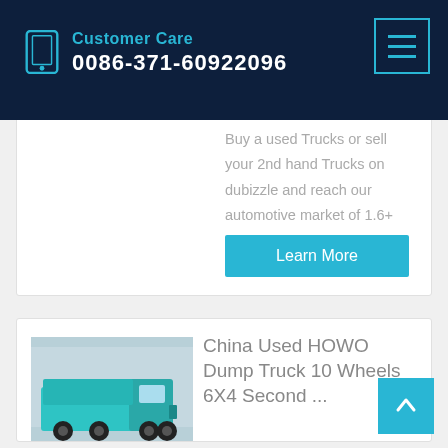Customer Care
0086-371-60922096
Buy a used Trucks or sell your 2nd hand Trucks on dubizzle and reach our automotive market of 1.6+ million buyers in the United Arab of Emirates.
Learn More
China Used HOWO Dump Truck 10 Wheels 6X4 Second ...
China Used HOWO Dump Truck 10